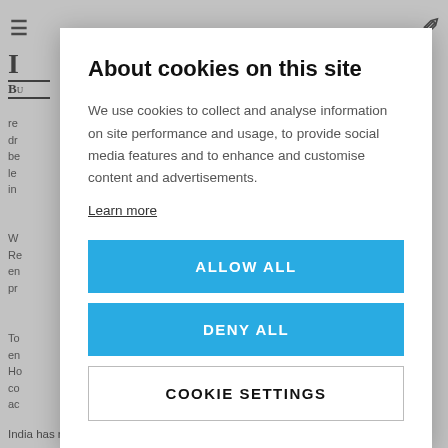About cookies on this site
We use cookies to collect and analyse information on site performance and usage, to provide social media features and to enhance and customise content and advertisements.
Learn more
ALLOW ALL
DENY ALL
COOKIE SETTINGS
India has notified that large companies need to spend at least